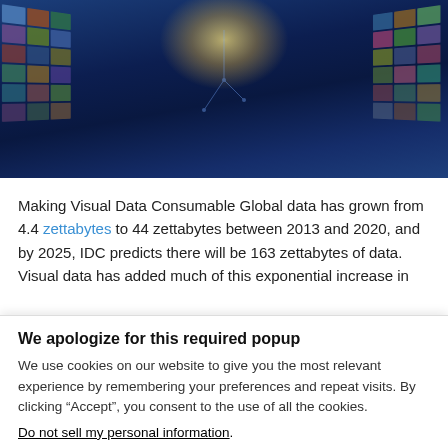[Figure (illustration): Hero image showing a curved digital wall of image thumbnails/video frames arranged in an arc against a dark blue background, with a bright glowing light source at the top center, suggesting a hand or figure reaching toward a glowing orb.]
Making Visual Data Consumable Global data has grown from 4.4 zettabytes to 44 zettabytes between 2013 and 2020, and by 2025, IDC predicts there will be 163 zettabytes of data. Visual data has added much of this exponential increase in
We apologize for this required popup
We use cookies on our website to give you the most relevant experience by remembering your preferences and repeat visits. By clicking “Accept”, you consent to the use of all the cookies.
Do not sell my personal information.
Cookie settings   ACCEPT